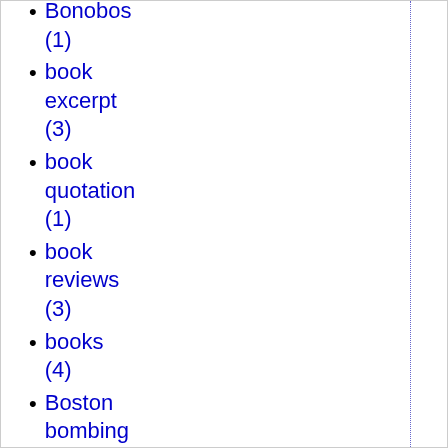Bonobos (1)
book excerpt (3)
book quotation (1)
book reviews (3)
books (4)
Boston bombing (1)
Boston Marathon (1)
Boumediene (1)
Bowdoin Collage (1)
BP (1)